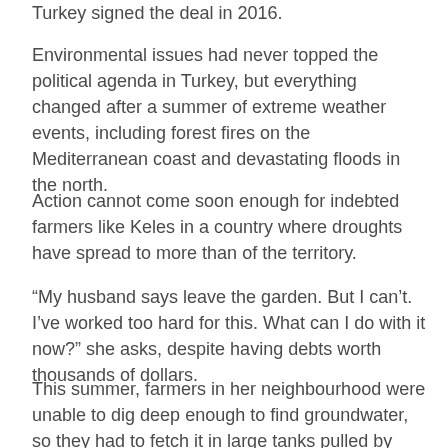Turkey signed the deal in 2016.
Environmental issues had never topped the political agenda in Turkey, but everything changed after a summer of extreme weather events, including forest fires on the Mediterranean coast and devastating floods in the north.
Action cannot come soon enough for indebted farmers like Keles in a country where droughts have spread to more than of the territory.
“My husband says leave the garden. But I can’t. I’ve worked too hard for this. What can I do with it now?” she asks, despite having debts worth thousands of dollars.
This summer, farmers in her neighbourhood were unable to dig deep enough to find groundwater, so they had to fetch it in large tanks pulled by tractors.